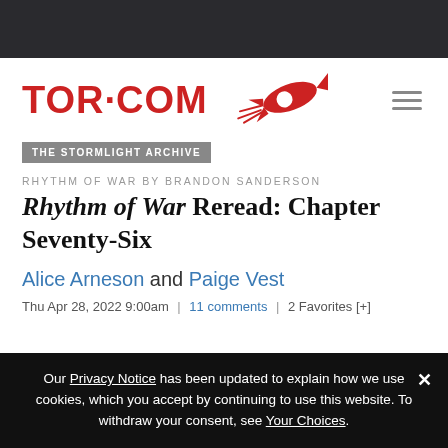[Figure (logo): TOR.COM logo with red rocket illustration and hamburger menu icon]
THE STORMLIGHT ARCHIVE
RHYTHM OF WAR BY BRANDON SANDERSON
Rhythm of War Reread: Chapter Seventy-Six
Alice Arneson and Paige Vest
Thu Apr 28, 2022 9:00am | 11 comments | 2 Favorites [+]
Our Privacy Notice has been updated to explain how we use cookies, which you accept by continuing to use this website. To withdraw your consent, see Your Choices.